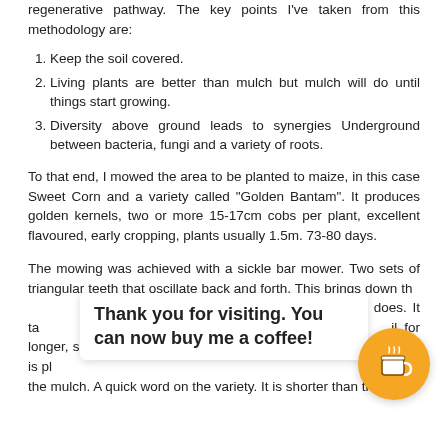regenerative pathway. The key points I've taken from this methodology are:
Keep the soil covered.
Living plants are better than mulch but mulch will do until things start growing.
Diversity above ground leads to synergies Underground between bacteria, fungi and a variety of roots.
To that end, I mowed the area to be planted to maize, in this case Sweet Corn and a variety called “Golden Bantam”. It produces golden kernels, two or more 15-17cm cobs per plant, excellent flavoured, early cropping, plants usually 1.5m. 73-80 days.
The mowing was achieved with a sickle bar mower. Two sets of triangular teeth that oscillate back and forth. This brings down th[e] [m]ower does. It ta[kes] [so]il for longer, sm[aller] [ar]ea is pl[anted] [s] to [hold] the mulch. A quick word on the variety. It is shorter than the
Thank you for visiting. You can now buy me a coffee!